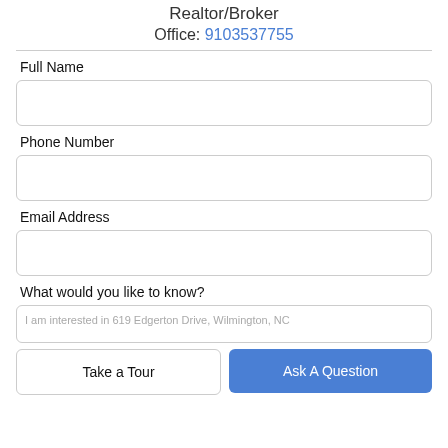Realtor/Broker
Office: 9103537755
Full Name
Phone Number
Email Address
What would you like to know?
I am interested in 619 Edgerton Drive, Wilmington, NC
Take a Tour
Ask A Question